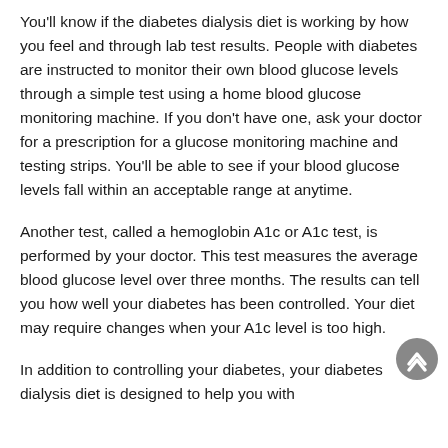You'll know if the diabetes dialysis diet is working by how you feel and through lab test results. People with diabetes are instructed to monitor their own blood glucose levels through a simple test using a home blood glucose monitoring machine. If you don't have one, ask your doctor for a prescription for a glucose monitoring machine and testing strips. You'll be able to see if your blood glucose levels fall within an acceptable range at anytime.
Another test, called a hemoglobin A1c or A1c test, is performed by your doctor. This test measures the average blood glucose level over three months. The results can tell you how well your diabetes has been controlled. Your diet may require changes when your A1c level is too high.
In addition to controlling your diabetes, your diabetes dialysis diet is designed to help you with